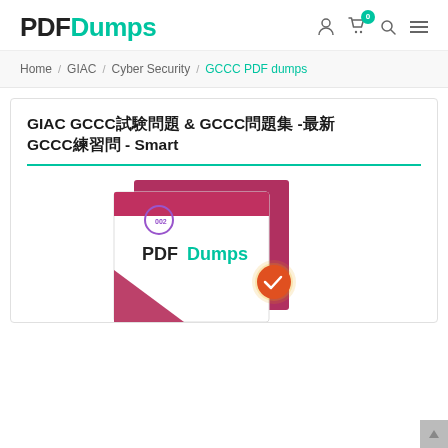[Figure (logo): PDFDumps logo in bold black and teal text]
PDFDumps — navigation header with cart (0), search, and menu icons
Home / GIAC / Cyber Security / GCCC PDF dumps
GIAC GCCC試験問題 & GCCC問題集 -最新 GCCC練習問 - Smart
[Figure (photo): PDFDumps product box with pink/maroon color scheme, PDFDumps logo, and a money-back guarantee badge]